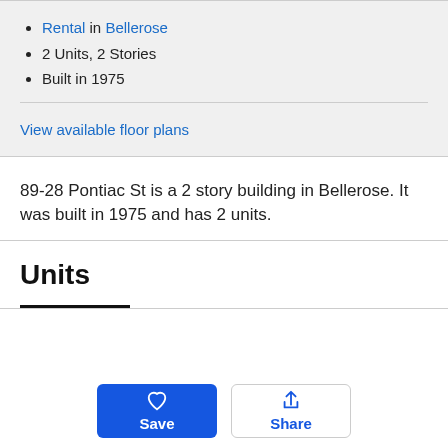Rental in Bellerose
2 Units, 2 Stories
Built in 1975
View available floor plans
89-28 Pontiac St is a 2 story building in Bellerose. It was built in 1975 and has 2 units.
Units
Save
Share